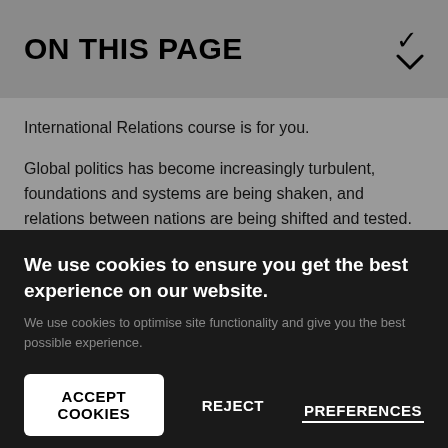ON THIS PAGE
International Relations course is for you.
Global politics has become increasingly turbulent, foundations and systems are being shaken, and relations between nations are being shifted and tested. There is a new demand for experts who are able to understand and work in this new political arena. With our innovative Politics and International
We use cookies to ensure you get the best experience on our website.
We use cookies to optimise site functionality and give you the best possible experience.
ACCEPT COOKIES
REJECT
PREFERENCES